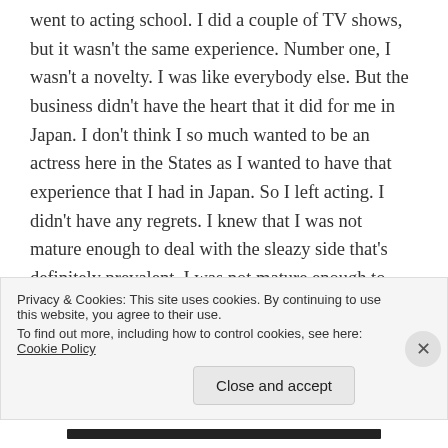went to acting school. I did a couple of TV shows, but it wasn't the same experience. Number one, I wasn't a novelty. I was like everybody else. But the business didn't have the heart that it did for me in Japan. I don't think I so much wanted to be an actress here in the States as I wanted to have that experience that I had in Japan. So I left acting. I didn't have any regrets. I knew that I was not mature enough to deal with the sleazy side that's definitely prevalent. I was not mature enough to deal with that, know how to cope with that, and I knew that for my spiritual well-being I needed to close
Privacy & Cookies: This site uses cookies. By continuing to use this website, you agree to their use.
To find out more, including how to control cookies, see here: Cookie Policy
Close and accept